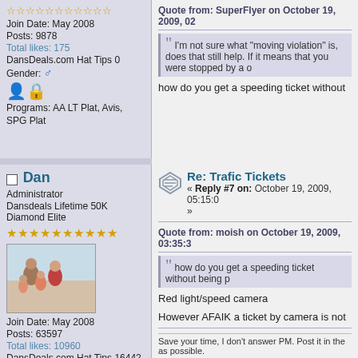Stars rating (outline stars)
Join Date: May 2008
Posts: 9878
Total likes: 175
DansDeals.com Hat Tips 0
Gender: ♂
Programs: AA LT Plat, Avis, SPG Plat
Quote from: SuperFlyer on October 19, 2009, 02...
I'm not sure what "moving violation" is, does that still help. If it means that you were stopped by a o...
how do you get a speeding ticket without
□ Dan
Administrator
Dansdeals Lifetime 50K Diamond Elite
Stars (gold filled)
[Figure (photo): Family photo on beach]
Join Date: May 2008
Posts: 63597
Total likes: 10960
DansDeals.com Hat Tips 16442
Gender: ♂
Re: Trafic Tickets
« Reply #7 on: October 19, 2009, 05:15:0... »
Quote from: moish on October 19, 2009, 03:35:3...
how do you get a speeding ticket without being p...
Red light/speed camera
However AFAIK a ticket by camera is not
Save your time, I don't answer PM. Post it in the as possible.